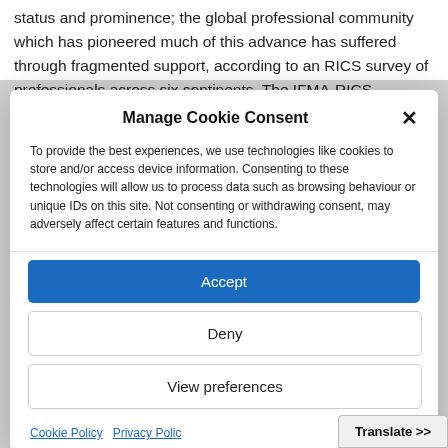status and prominence; the global professional community which has pioneered much of this advance has suffered through fragmented support, according to an RICS survey of professionals across six continents. The IFMA-RICS
Manage Cookie Consent
To provide the best experiences, we use technologies like cookies to store and/or access device information. Consenting to these technologies will allow us to process data such as browsing behaviour or unique IDs on this site. Not consenting or withdrawing consent, may adversely affect certain features and functions.
Accept
Deny
View preferences
Cookie Policy  Privacy Policy
Translate >>